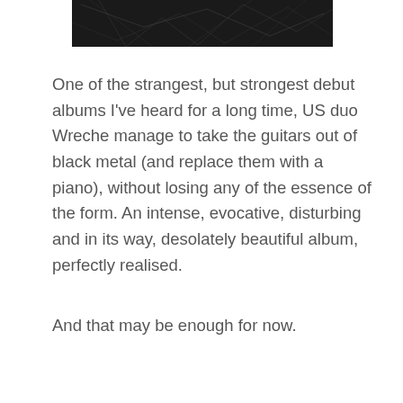[Figure (photo): Dark, textured image showing neural/wire-like patterns on black background, cropped at top of page]
One of the strangest, but strongest debut albums I’ve heard for a long time, US duo Wreche manage to take the guitars out of black metal (and replace them with a piano), without losing any of the essence of the form. An intense, evocative, disturbing and in its way, desolately beautiful album, perfectly realised.
And that may be enough for now.